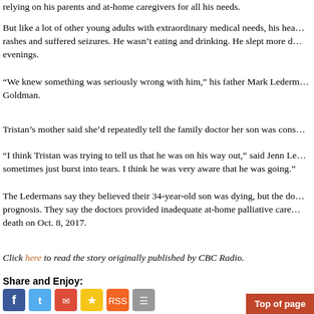relying on his parents and at-home caregivers for all his needs.
But like a lot of other young adults with extraordinary medical needs, his health deteriorated. He developed rashes and suffered seizures. He wasn't eating and drinking. He slept more during the day and was awake in the evenings.
“We knew something was seriously wrong with him,” his father Mark Lederman told CBC Radio journalist Lauren Goldman.
Tristan’s mother said she’d repeatedly tell the family doctor her son was cons…
“I think Tristan was trying to tell us that he was on his way out,” said Jenn Le… sometimes just burst into tears. I think he was very aware that he was going.”
The Ledermans say they believed their 34-year-old son was dying, but the doctors never gave them a prognosis. They say the doctors provided inadequate at-home palliative care… death on Oct. 8, 2017.
Click here to read the story originally published by CBC Radio.
Share and Enjoy:
[Figure (infographic): Social sharing icons: Facebook, Twitter, Email, Favorites/Stars, RSS, and another icon]
Comments Off
Category Uncategorized / Tags: /
Social Networks : Technorati, Stumble it!, Digg, delicious, Google, Twitter, Yahoo, reddit
You can follow any responses to this entry through the RSS 2.0 feed.